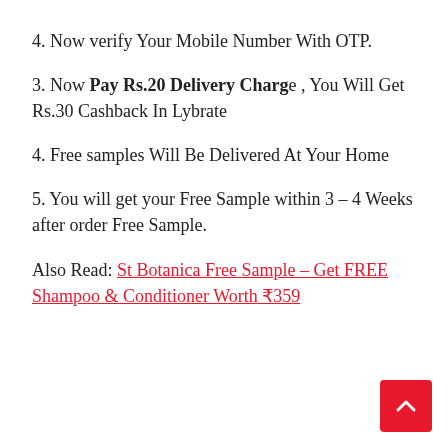4. Now verify Your Mobile Number With OTP.
3. Now Pay Rs.20 Delivery Charge , You Will Get Rs.30 Cashback In Lybrate
4. Free samples Will Be Delivered At Your Home
5. You will get your Free Sample within 3 – 4 Weeks after order Free Sample.
Also Read: St Botanica Free Sample – Get FREE Shampoo & Conditioner Worth ₹359